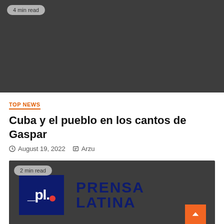[Figure (photo): Dark gray image placeholder with '4 min read' badge in top left]
TOP NEWS
Cuba y el pueblo en los cantos de Gaspar
August 19, 2022   Arzu
[Figure (logo): Prensa Latina logo on dark background with '2 min read' badge and orange scroll-to-top button]